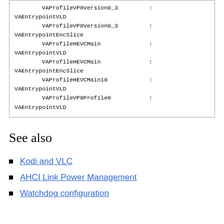VAProfileVP8Version0_3 :
VAEntrypointVLD
    VAProfileVP8Version0_3 :
VAEntrypointEncSlice
    VAProfileHEVCMain :
VAEntrypointVLD
    VAProfileHEVCMain :
VAEntrypointEncSlice
    VAProfileHEVCMain10 :
VAEntrypointVLD
    VAProfileVP9Profile0 :
VAEntrypointVLD
See also
Kodi and VLC
AHCI Link Power Management
Watchdog configuration